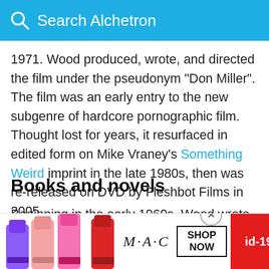Search Alchetron
1971. Wood produced, wrote, and directed the film under the pseudonym "Don Miller". The film was an early entry to the new subgenre of hardcore pornographic film. Thought lost for years, it resurfaced in edited form on Mike Vraney's Something Weird imprint in the late 1980s, then was re-released on DVD by Fleshbot Films in 2005.
Books and novels
Beginning in the early 1960s, Wood wrote at least eighty lurid crime and sex novels in addition to hundreds of short stories and non-fiction pieces for maga... (he a...